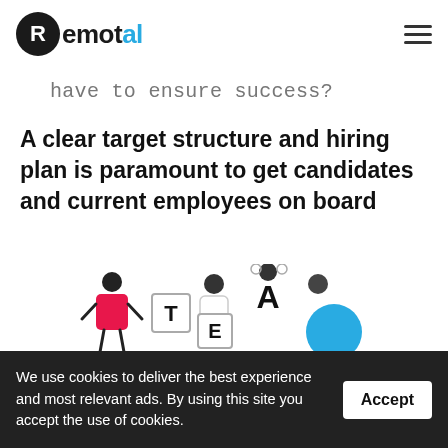Remotal
have to ensure success?
A clear target structure and hiring plan is paramount to get candidates and current employees on board
[Figure (infographic): Chat popup showing 'We're offline / Leave a message' with a dark circular chat icon button]
[Figure (illustration): Illustration of people holding letters T, E, A forming a word, with a person in red, others with blue and white elements]
We use cookies to deliver the best experience and most relevant ads. By using this site you accept the use of cookies.